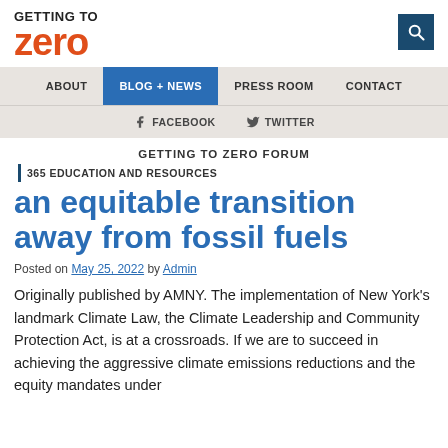GETTING TO zero
ABOUT | BLOG + NEWS | PRESS ROOM | CONTACT
FACEBOOK   TWITTER
GETTING TO ZERO FORUM
365 EDUCATION AND RESOURCES
an equitable transition away from fossil fuels
Posted on May 25, 2022 by Admin
Originally published by AMNY. The implementation of New York's landmark Climate Law, the Climate Leadership and Community Protection Act, is at a crossroads. If we are to succeed in achieving the aggressive climate emissions reductions and the equity mandates under